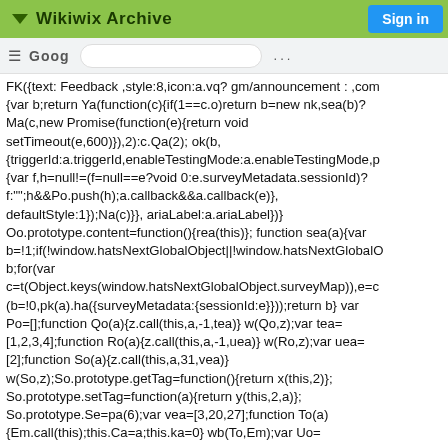▼ Wikiwix Archive
Sign in
FK({text: Feedback ,style:8,icon:a.vq? gm/announcement : ,com {var b;return Ya(function(c){if(1==c.o)return b=new nk,sea(b)? Ma(c,new Promise(function(e){return void setTimeout(e,600)}),2):c.Qa(2); ok(b, {triggerId:a.triggerId,enableTestingMode:a.enableTestingMode,p {var f,h=null!=(f=null==e?void 0:e.surveyMetadata.sessionId)? f:"";h&&Po.push(h);a.callback&&a.callback(e)}, defaultStyle:1});Na(c)}}, ariaLabel:a.ariaLabel})} Oo.prototype.content=function(){rea(this)}; function sea(a){var b=!1;if(!window.hatsNextGlobalObject||!window.hatsNextGlobalO b;for(var c=t(Object.keys(window.hatsNextGlobalObject.surveyMap)),e=c (b=!0,pk(a).ha({surveyMetadata:{sessionId:e}}));return b} var Po=[];function Qo(a){z.call(this,a,-1,tea)} w(Qo,z);var tea= [1,2,3,4];function Ro(a){z.call(this,a,-1,uea)} w(Ro,z);var uea= [2];function So(a){z.call(this,a,31,vea)} w(So,z);So.prototype.getTag=function(){return x(this,2)}; So.prototype.setTag=function(a){return y(this,2,a)}; So.prototype.Se=pa(6);var vea=[3,20,27];function To(a) {Em.call(this);this.Ca=a;this.ka=0} wb(To,Em);var Uo=